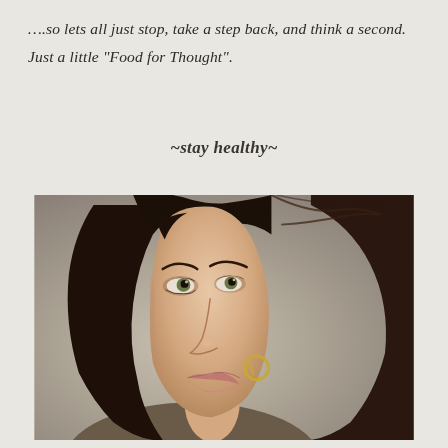….so lets all just stop, take a step back, and think a second. Just a little "Food for Thought".
~stay healthy~
[Figure (photo): Close-up portrait photo of a young woman with dark brown hair, green-grey eyes, smoky eye makeup, and a gold hoop earring, looking slightly upward and to the side.]